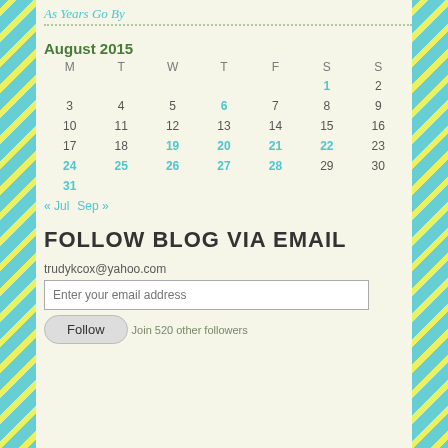As Years Go By
| M | T | W | T | F | S | S |
| --- | --- | --- | --- | --- | --- | --- |
|  |  |  |  |  | 1 | 2 |
| 3 | 4 | 5 | 6 | 7 | 8 | 9 |
| 10 | 11 | 12 | 13 | 14 | 15 | 16 |
| 17 | 18 | 19 | 20 | 21 | 22 | 23 |
| 24 | 25 | 26 | 27 | 28 | 29 | 30 |
| 31 |  |  |  |  |  |  |
« Jul   Sep »
FOLLOW BLOG VIA EMAIL
trudykcox@yahoo.com
Enter your email address
Follow
Join 520 other followers